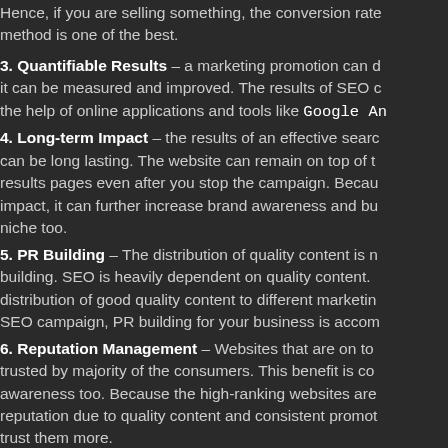Hence, if you are selling something, the conversion rate of this method is one of the best.
3. Quantifiable Results – a marketing promotion can be measured and it can be measured and improved. The results of SEO can be tracked with the help of online applications and tools like Google Analytics...
4. Long-term Impact – the results of an effective search engine campaign can be long lasting. The website can remain on top of the search engine results pages even after you stop the campaign. Because of this long-term impact, it can further increase brand awareness and build trust in a niche too.
5. PR Building – The distribution of quality content is needed for PR building. SEO is heavily dependent on quality content. With the distribution of good quality content to different marketing channels in the SEO campaign, PR building for your business is accomplished.
6. Reputation Management – Websites that are on top rankings are trusted by majority of the consumers. This benefit is connected to brand awareness too. Because the high-ranking websites are given a better reputation due to quality content and consistent promotion, consumers tend to trust them more.
7. Better Customer Experience – Part of the search engine campaign is ensuring that visitors will have a good experience with...